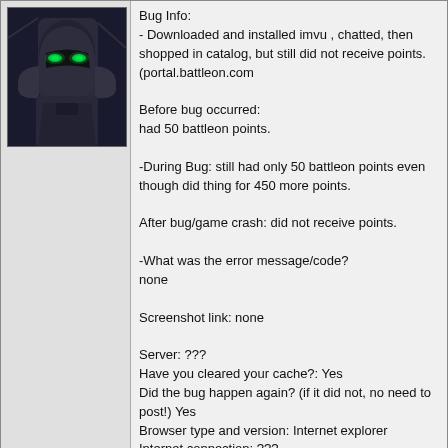[Figure (illustration): Dark armored character avatar with green glowing eyes, game/forum avatar image]
Bug Info:
- Downloaded and installed imvu , chatted, then shopped in catalog, but still did not receive points.
(portal.battleon.com

Before bug occurred:
had 50 battleon points.

-During Bug: still had only 50 battleon points even though did thing for 450 more points.

After bug/game crash: did not receive points.

-What was the error message/code?
none

Screenshot link: none

Server: ???
Have you cleared your cache?: Yes
Did the bug happen again? (if it did not, no need to post!) Yes
Browser type and version: Internet explorer
Internet connection: ???
Operating System: Wondows xp ( i think)

< Message edited by tomlinsonbrandon -- 10/18/2010 19:34:40 >
DF  PM  Addr.  Block  Post #: 9
10/19/2010 5:31:26
Arc Trooper Captain
Member
I used the code for the Chickencow Shirt and Critical hits CD for the items, but in DF it gave it to the wrong